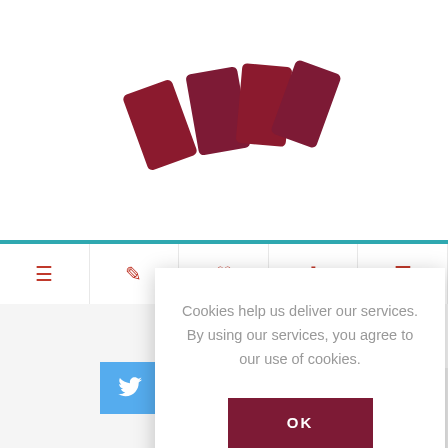[Figure (logo): Four dark red rectangular card/domino shapes arranged in a scattered overlapping pattern, serving as a website logo]
[Figure (screenshot): Navigation bar with five icon items in dark red/crimson color separated by vertical borders on a white background below a teal horizontal line]
Cookies help us deliver our services. By using our services, you agree to our use of cookies.
OK
Learn more
[Figure (screenshot): Exchange/transfer arrows icon in a light gray box]
[Figure (screenshot): Social media share bar with Twitter (blue), Facebook (dark blue), Pinterest (red), and Google+ (dark gray) icons]
[Figure (screenshot): Scroll to top button with double up-chevron arrow in light gray]